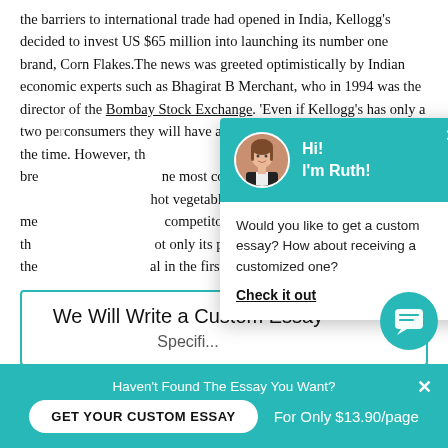the barriers to international trade had opened in India, Kellogg's decided to invest US $65 million into launching its number one brand, Corn Flakes.The news was greeted optimistically by Indian economic experts such as Bhagirat B Merchant, who in 1994 was the director of the Bombay Stock Exchange. 'Even if Kellogg's has only a two pe[rcent market share of the Indian] consumers they will have a [significant impact],' [he] said at the time. However, th[e main problem was the] whole concept of eating bre[akfast cereal as it is] [the] most common way to start [the day in India using] hot vegetables.While this me[ant problems for Kellogg's] competitors it also meant th[at Kellogg's had to sell n]ot only its product, but also the [concept of eating cereal at] al in the first place.
[Figure (screenshot): Chat popup with a teal header showing a circular avatar of a woman named Ruth and greeting text 'Hi! I'm Ruth!', close button X, and body text asking 'Would you like to get a custom essay? How about receiving a customized one?' with a bold underlined 'Check it out' link.]
We Will Write a Custom Essay
Haven't Found The Essay You Want?  X  GET YOUR CUSTOM ESSAY  For Only $13.90/page